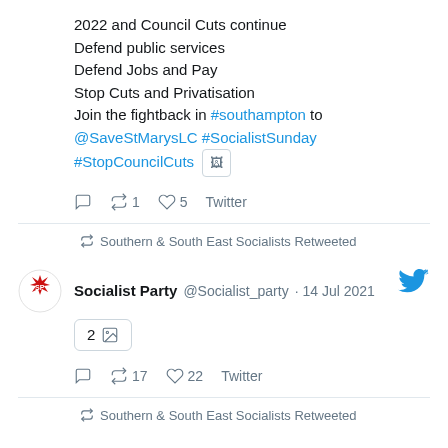2022 and Council Cuts continue
Defend public services
Defend Jobs and Pay
Stop Cuts and Privatisation
Join the fightback in #southampton to @SaveStMarysLC #SocialistSunday #StopCouncilCuts [image]
reply  retweet 1  like 5  Twitter
Southern & South East Socialists Retweeted
Socialist Party @Socialist_party · 14 Jul 2021
2 [images]
reply  retweet 17  like 22  Twitter
Southern & South East Socialists Retweeted